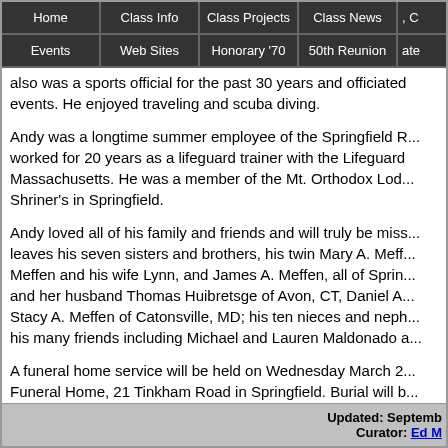Home | Class Info | Class Projects | Class News | Events | Web Sites | Honorary '70 | 50th Reunion
also was a sports official for the past 30 years and officiated events. He enjoyed traveling and scuba diving.
Andy was a longtime summer employee of the Springfield R... worked for 20 years as a lifeguard trainer with the Lifeguard Massachusetts. He was a member of the Mt. Orthodox Lod... Shriner's in Springfield.
Andy loved all of his family and friends and will truly be miss... leaves his seven sisters and brothers, his twin Mary A. Meff... Meffen and his wife Lynn, and James A. Meffen, all of Sprin... and her husband Thomas Huibretsge of Avon, CT, Daniel A... Stacy A. Meffen of Catonsville, MD; his ten nieces and neph... his many friends including Michael and Lauren Maldonado a...
A funeral home service will be held on Wednesday March 2... Funeral Home, 21 Tinkham Road in Springfield. Burial will b... home on Wednesday March 28th from 2 to 6 p.m. prior to th... Andy's memory to the Shriner's Hospital for Children, 516 C...
Updated: Septemb... Curator: Ed M...